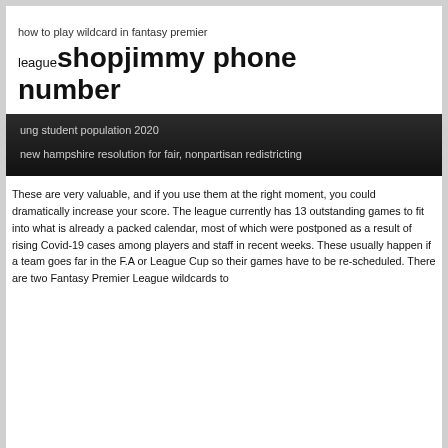how to play wildcard in fantasy premier
league shopjimmy phone number
ung student population 2020
new hampshire resolution for fair, nonpartisan redistricting
These are very valuable, and if you use them at the right moment, you could dramatically increase your score. The league currently has 13 outstanding games to fit into what is already a packed calendar, most of which were postponed as a result of rising Covid-19 cases among players and staff in recent weeks. These usually happen if a team goes far in the F.A or League Cup so their games have to be re-scheduled. There are two Fantasy Premier League wildcards to